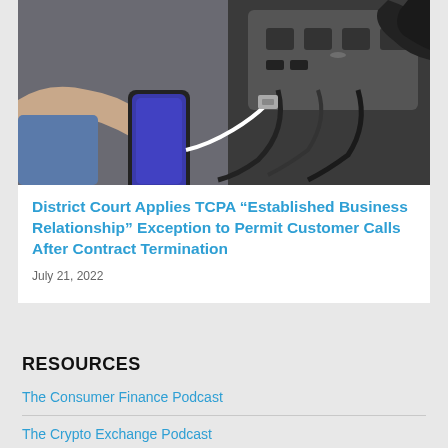[Figure (photo): A hand holding a smartphone plugging a charging cable into a power strip with multiple outlets on a dark desk surface.]
District Court Applies TCPA “Established Business Relationship” Exception to Permit Customer Calls After Contract Termination
July 21, 2022
RESOURCES
The Consumer Finance Podcast
The Crypto Exchange Podcast
FCRA Focus Podcast